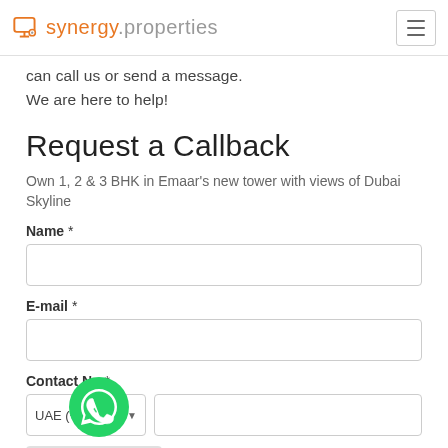synergy.properties
can call us or send a message. We are here to help!
Request a Callback
Own 1, 2 & 3 BHK in Emaar's new tower with views of Dubai Skyline
Name *
E-mail *
Contact No *
Send